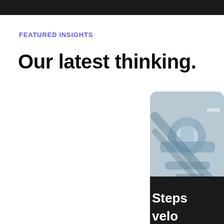FEATURED INSIGHTS
Our latest thinking.
[Figure (photo): Partially visible card with a close-up photo of mechanical/robotic parts in blue-grey tones, with 'Insight' label overlay at top right. Below it, a dark card with white bold text reading 'Steps' and 'velo' (partially cropped).]